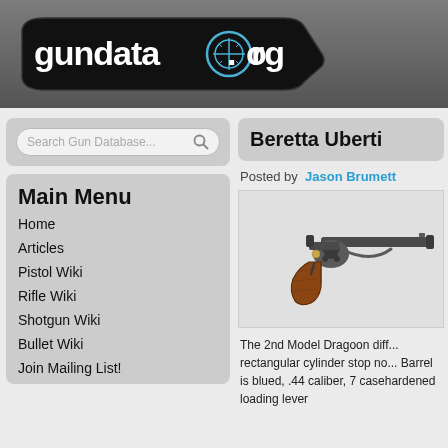[Figure (logo): gundata.org logo with crosshair/scope graphic on dark banner]
Search Gun Database...
Main Menu
Home
Articles
Pistol Wiki
Rifle Wiki
Shotgun Wiki
Bullet Wiki
Join Mailing List!
Beretta Uberti
Posted by Jason Brumett
[Figure (photo): Antique revolver pistol with long barrel and wood grip, Beretta Uberti 2nd Model Dragoon]
The 2nd Model Dragoon differs from the first because of its rectangular cylinder stop notches instead of oval ones. Barrel is blued, .44 caliber, 7 1/2" barrel. It has a casehardened loading lever